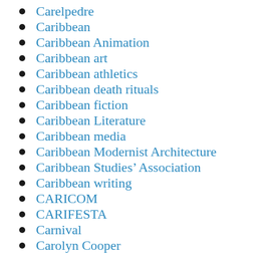Carelpedre
Caribbean
Caribbean Animation
Caribbean art
Caribbean athletics
Caribbean death rituals
Caribbean fiction
Caribbean Literature
Caribbean media
Caribbean Modernist Architecture
Caribbean Studies’ Association
Caribbean writing
CARICOM
CARIFESTA
Carnival
Carolyn Cooper